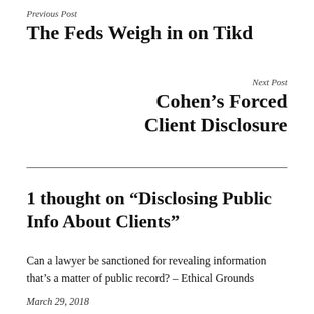Previous Post
The Feds Weigh in on Tikd
Next Post
Cohen’s Forced Client Disclosure
1 thought on “Disclosing Public Info About Clients”
Can a lawyer be sanctioned for revealing information that’s a matter of public record? – Ethical Grounds
March 29, 2018